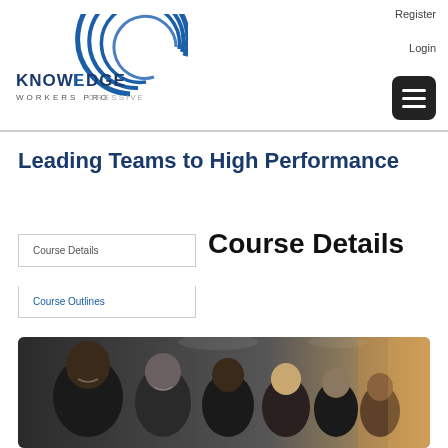Register  Login
[Figure (logo): Knowledge Workers Progressive logo with circular arc graphic and bold text]
Leading Teams to High Performance
Course Details
Course Outlines
Course Details
[Figure (photo): Group of diverse smiling professionals seated in a row in an office setting]